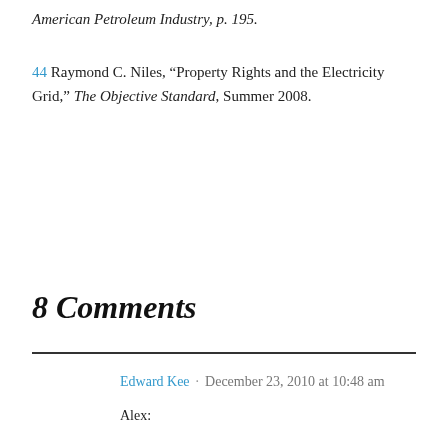American Petroleum Industry, p. 195.
44 Raymond C. Niles, “Property Rights and the Electricity Grid,” The Objective Standard, Summer 2008.
8 Comments
Edward Kee · December 23, 2010 at 10:48 am
Alex: